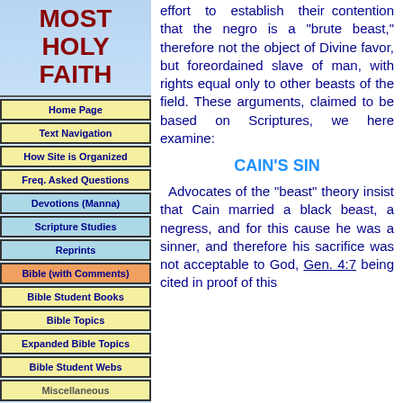MOST HOLY FAITH
Home Page
Text Navigation
How Site is Organized
Freq. Asked Questions
Devotions (Manna)
Scripture Studies
Reprints
Bible (with Comments)
Bible Student Books
Bible Topics
Expanded Bible Topics
Bible Student Webs
Miscellaneous
effort to establish their contention that the negro is a "brute beast," therefore not the object of Divine favor, but foreordained slave of man, with rights equal only to other beasts of the field. These arguments, claimed to be based on Scriptures, we here examine:
CAIN'S SIN
Advocates of the "beast" theory insist that Cain married a black beast, a negress, and for this cause he was a sinner, and therefore his sacrifice was not acceptable to God, Gen. 4:7 being cited in proof of this